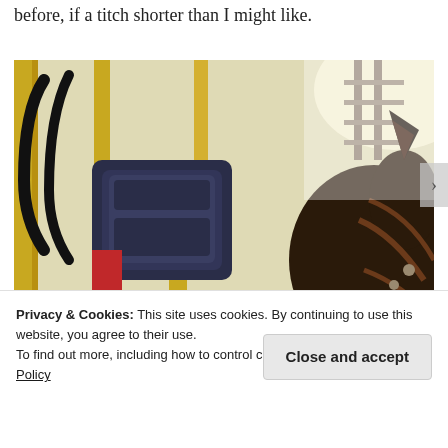before, if a titch shorter than I might like.
[Figure (photo): A horse's head wearing a bridle is seen next to yellow construction/agricultural equipment with a black seat, inside what appears to be a barn or farm building with yellow walls and metal stairs visible in the background.]
Privacy & Cookies: This site uses cookies. By continuing to use this website, you agree to their use.
To find out more, including how to control cookies, see here: Cookie Policy
Close and accept